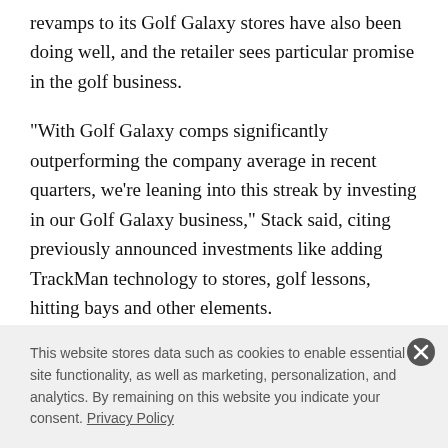revamps to its Golf Galaxy stores have also been doing well, and the retailer sees particular promise in the golf business.
"With Golf Galaxy comps significantly outperforming the company average in recent quarters, we're leaning into this streak by investing in our Golf Galaxy business," Stack said, citing previously announced investments like adding TrackMan technology to stores, golf lessons, hitting bays and other elements.
This website stores data such as cookies to enable essential site functionality, as well as marketing, personalization, and analytics. By remaining on this website you indicate your consent. Privacy Policy